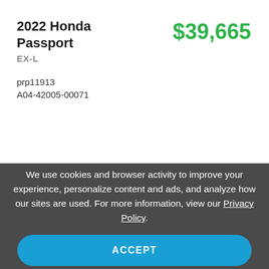2022 Honda Passport
EX-L
$39,665
prp11913
A04-42005-00071
We use cookies and browser activity to improve your experience, personalize content and ads, and analyze how our sites are used. For more information, view our Privacy Policy.
ACCEPT